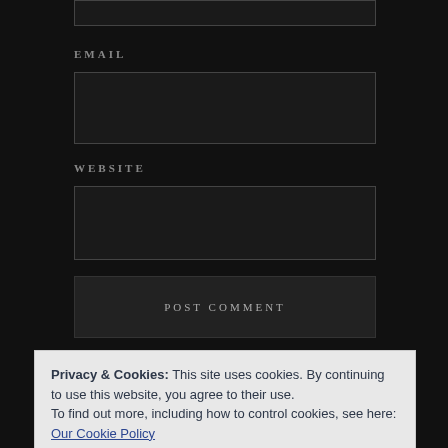EMAIL
WEBSITE
POST COMMENT
Privacy & Cookies: This site uses cookies. By continuing to use this website, you agree to their use.
To find out more, including how to control cookies, see here: Our Cookie Policy
Close and accept